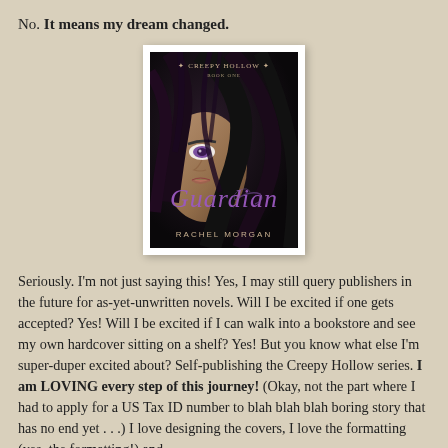No. It means my dream changed.
[Figure (illustration): Book cover for 'Guardian' by Rachel Morgan, Creepy Hollow Book One. Dark cover showing a young woman's face partially obscured by dark hair, with purple eyes visible. Title 'GUARDIAN' in purple text, author name 'RACHEL MORGAN' at bottom.]
Seriously. I'm not just saying this! Yes, I may still query publishers in the future for as-yet-unwritten novels. Will I be excited if one gets accepted? Yes! Will I be excited if I can walk into a bookstore and see my own hardcover sitting on a shelf? Yes! But you know what else I'm super-duper excited about? Self-publishing the Creepy Hollow series. I am LOVING every step of this journey! (Okay, not the part where I had to apply for a US Tax ID number to blah blah blah boring story that has no end yet . . .) I love designing the covers, I love the formatting (yes, the formatting!) and